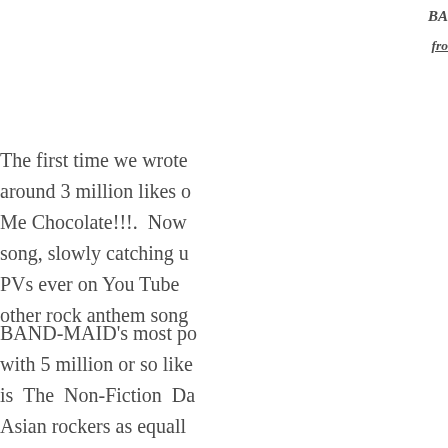BA
fro
The first time we wrote around 3 million likes o Me Chocolate!!!. Now song, slowly catching u PVs ever on You Tube other rock anthem song
BAND-MAID's most po with 5 million or so like is The Non-Fiction Da Asian rockers as equall BAND-MAID gets thei